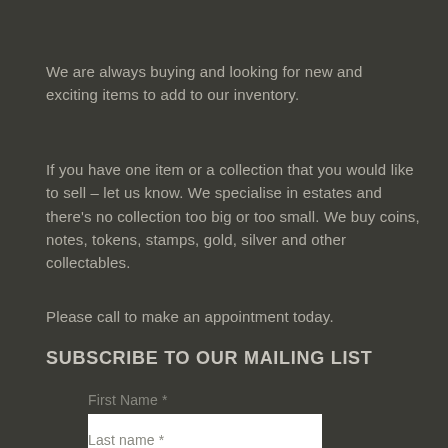We are always buying and looking for new and exciting items to add to our inventory.
If you have one item or a collection that you would like to sell – let us know. We specialise in estates and there’s no collection too big or too small. We buy coins, notes, tokens, stamps, gold, silver and other collectables.
Please call to make an appointment today.
SUBSCRIBE TO OUR MAILING LIST
First Name *
Last name *